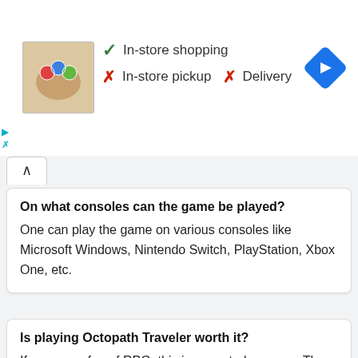[Figure (infographic): Store shopping availability banner showing a food product thumbnail, green checkmark for In-store shopping, red X for In-store pickup, red X for Delivery, and a blue navigation diamond icon]
On what consoles can the game be played?
One can play the game on various consoles like Microsoft Windows, Nintendo Switch, PlayStation, Xbox One, etc.
Is playing Octopath Traveler worth it?
If you are a fan of RPG, this is a must-play game. The game's storyline, combat mechanics, etc. Are on point and would never bore you out.